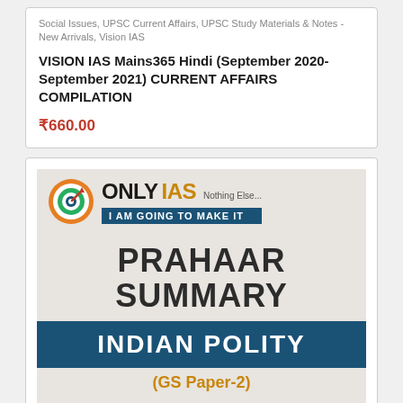Social Issues, UPSC Current Affairs, UPSC Study Materials & Notes - New Arrivals, Vision IAS
VISION IAS Mains365 Hindi (September 2020- September 2021) CURRENT AFFAIRS COMPILATION
₹660.00
[Figure (illustration): Book cover for Only IAS Prahaar Summary Indian Polity (GS Paper-2). Features the Only IAS logo with a target and dart, orange and white 'ONLY IAS Nothing Else...' branding, blue banner 'I AM GOING TO MAKE IT', large text 'PRAHAAR SUMMARY' and 'INDIAN POLITY' in a dark blue banner, subtitle '(GS Paper-2)' in orange.]